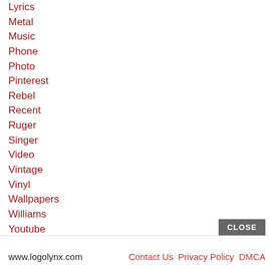Lyrics
Metal
Music
Phone
Photo
Pinterest
Rebel
Recent
Ruger
Singer
Video
Vintage
Vinyl
Wallpapers
Williams
Youtube
www.logolynx.com   Contact Us   Privacy Policy   DMCA